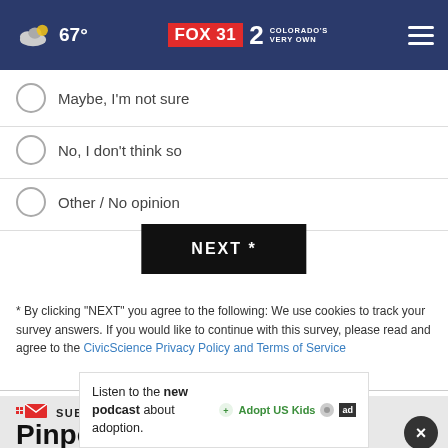67° FOX 31 2 COLORADO'S VERY OWN
Maybe, I'm not sure
No, I don't think so
Other / No opinion
NEXT *
* By clicking "NEXT" you agree to the following: We use cookies to track your survey answers. If you would like to continue with this survey, please read and agree to the CivicScience Privacy Policy and Terms of Service
SUBSCRIBE NOW
Pinpoint Weather
Listen to the new podcast about adoption.
Updates